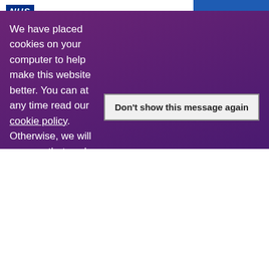NHS South London and Maudsley NHS Foundation Trust — very College supports the lopment of major training ramme — Menu
ramme
Posted on 5 May 2022 at 10:48 AM by Olivia Lerche
South London and Maudsley's Recovery College has supported the development of a major training programme to help tackle stigma and discrimination and promote mental health, recovery and community inclusion.
We have placed cookies on your computer to help make this website better. You can at any time read our cookie policy. Otherwise, we will assume that you're OK to continue.
Don't show this message again